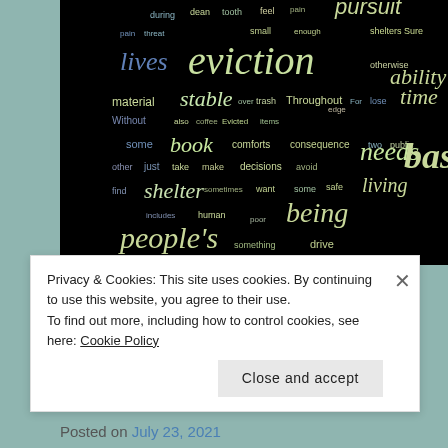[Figure (illustration): Word cloud on black background featuring words related to housing insecurity and eviction, including: eviction, lives, pursuit, basic, being, people's, shelter, stable, material, without, decisions, needs, public, poor, human, drive, something, includes, find, other, some, pain, thread, book, coffee, comfort, consequence, items, avoid, want, safe, living, way, sure, ability, time, edge, loss, for, two, throughout, trash, over, stable, also, able, dear, tooth, small, enough, during, feel]
WITHOUT STABLE SHELTER, EVERYTHING ELSE FALLS APART
Posted on July 23, 2021
Privacy & Cookies: This site uses cookies. By continuing to use this website, you agree to their use.
To find out more, including how to control cookies, see here: Cookie Policy